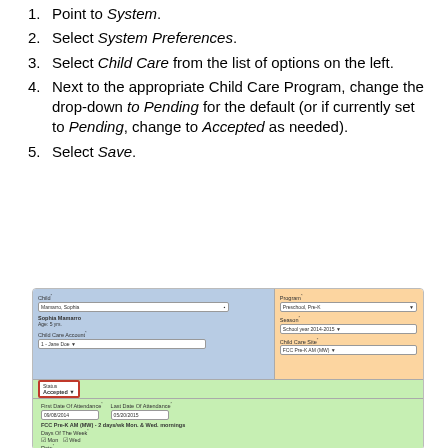Point to System.
Select System Preferences.
Select Child Care from the list of options on the left.
Next to the appropriate Child Care Program, change the drop-down to Pending for the default (or if currently set to Pending, change to Accepted as needed).
Select Save.
[Figure (screenshot): Screenshot of a child care enrollment form showing fields for Child (Mamarro, Sophia), Program (Preschool, Pre-K), Season (School year 2014-2015), Child Care Site (FCC Pre-K AM MWF), Status dropdown set to 'Accepted' (highlighted with red border), First/Last Date of Attendance, site details (FCC Pre-K AM (MW) - 2 days/wk Mon. & Wed. mornings), Days of the Week (Mon, Wed checked), Rate dropdown, and Discounts (There Are No Discounts).]